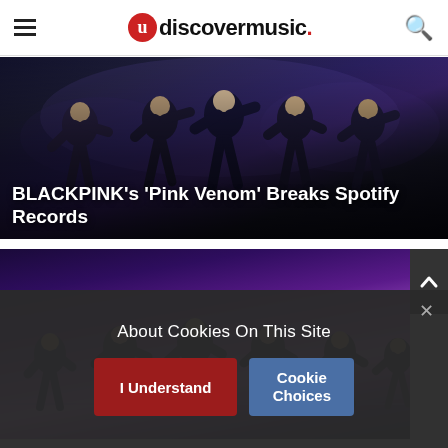udiscovermusic.
[Figure (photo): BLACKPINK performers on stage in dark outfits with a dark blue/purple background, dynamic dance pose]
BLACKPINK’s ‘Pink Venom’ Breaks Spotify Records
[Figure (photo): Male K-pop dancers in dark suits performing synchronized moves on a purple-lit stage]
About Cookies On This Site
I Understand
Cookie Choices